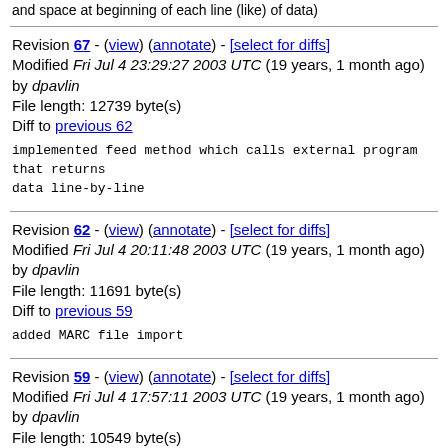and space at beginning of each line (like) of data)
Revision 67 - (view) (annotate) - [select for diffs]
Modified Fri Jul 4 23:29:27 2003 UTC (19 years, 1 month ago) by dpavlin
File length: 12739 byte(s)
Diff to previous 62
implemented feed method which calls external program that returns
data line-by-line
Revision 62 - (view) (annotate) - [select for diffs]
Modified Fri Jul 4 20:11:48 2003 UTC (19 years, 1 month ago) by dpavlin
File length: 11691 byte(s)
Diff to previous 59
added MARC file import
Revision 59 - (view) (annotate) - [select for diffs]
Modified Fri Jul 4 17:57:11 2003 UTC (19 years, 1 month ago) by dpavlin
File length: 10549 byte(s)